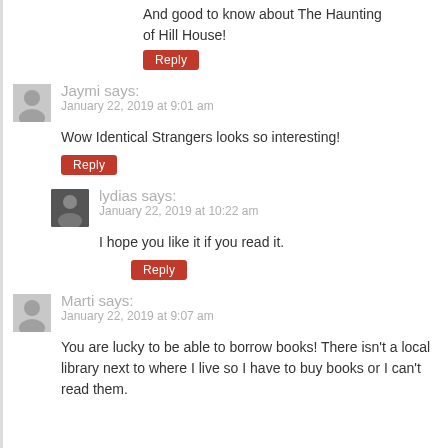And good to know about The Haunting of Hill House!
Reply
Jaymi says: January 22, 2019 at 9:01 am
Wow Identical Strangers looks so interesting!
Reply
lydias says: January 22, 2019 at 10:22 am
I hope you like it if you read it.
Reply
Marti says: January 22, 2019 at 9:07 am
You are lucky to be able to borrow books! There isn't a local library next to where I live so I have to buy books or I can't read them.